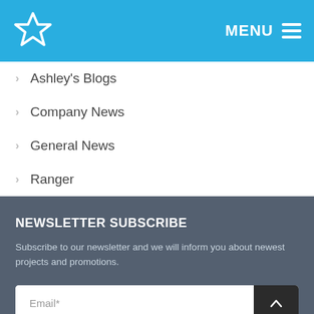MENU
Ashley's Blogs
Company News
General News
Ranger
NEWSLETTER SUBSCRIBE
Subscribe to our newsletter and we will inform you about newest projects and promotions.
Email*